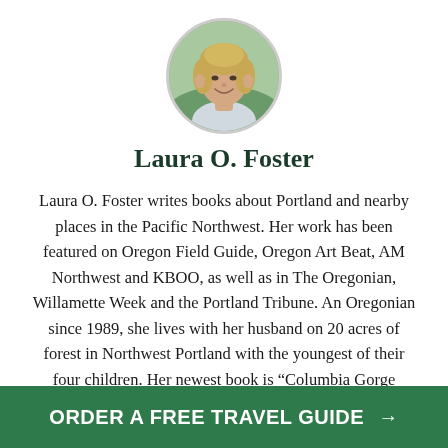[Figure (photo): Circular headshot photo of Laura O. Foster, a woman with blonde hair, smiling, outdoors.]
Laura O. Foster
Laura O. Foster writes books about Portland and nearby places in the Pacific Northwest. Her work has been featured on Oregon Field Guide, Oregon Art Beat, AM Northwest and KBOO, as well as in The Oregonian, Willamette Week and the Portland Tribune. An Oregonian since 1989, she lives with her husband on 20 acres of forest in Northwest Portland with the youngest of their four children. Her newest book is “Columbia Gorge Getaways: 12
ORDER A FREE TRAVEL GUIDE →